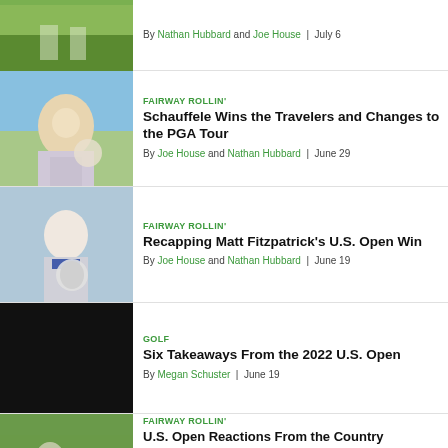[Figure (photo): Golf course photo, partial view of green fairway with players]
By Nathan Hubbard and Joe House | July 6
[Figure (photo): Golfer holding trophy]
FAIRWAY ROLLIN'
Schauffele Wins the Travelers and Changes to the PGA Tour
By Joe House and Nathan Hubbard | June 29
[Figure (photo): Matt Fitzpatrick holding U.S. Open trophy]
FAIRWAY ROLLIN'
Recapping Matt Fitzpatrick's U.S. Open Win
By Joe House and Nathan Hubbard | June 19
[Figure (photo): Dark/black image]
GOLF
Six Takeaways From the 2022 U.S. Open
By Megan Schuster | June 19
[Figure (photo): Golfers on green course, partial view]
FAIRWAY ROLLIN'
U.S. Open Reactions From the Country